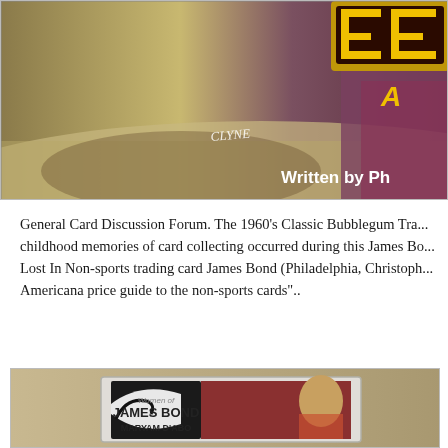[Figure (photo): Cropped movie/artwork image with yellow graphic text elements partially visible, text 'CLYNE' handwritten, 'Written by Ph' visible in white text at bottom right. Purple and olive/yellow tones.]
General Card Discussion Forum. The 1960's Classic Bubblegum Tra... childhood memories of card collecting occurred during this James Bo... Lost In Non-sports trading card James Bond (Philadelphia, Christoph... Americana price guide to the non-sports cards"..
[Figure (photo): Trading card photo showing 'Women of James Bond' card featuring Maryam D'Abo, displayed in a plastic case on a textured background.]